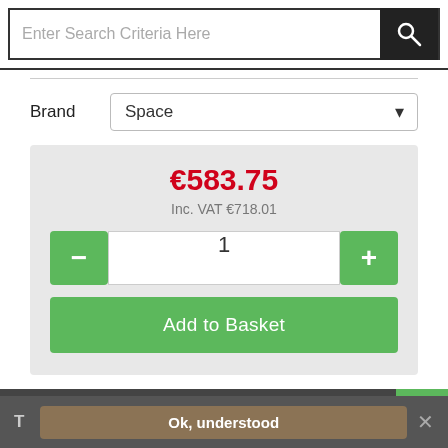[Figure (screenshot): Search bar with text input 'Enter Search Criteria Here' and dark search button with magnifying glass icon]
Brand
Space
€583.75
Inc. VAT €718.01
1
Add to Basket
Description
T  Ok, understood  ×